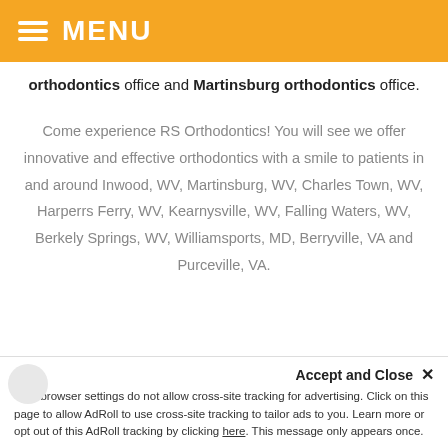MENU
orthodontics office and Martinsburg orthodontics office.
Come experience RS Orthodontics! You will see we offer innovative and effective orthodontics with a smile to patients in and around Inwood, WV, Martinsburg, WV, Charles Town, WV, Harperrs Ferry, WV, Kearnysville, WV, Falling Waters, WV, Berkely Springs, WV, Williamsports, MD, Berryville, VA and Purceville, VA.
© 2020 RS Orthodontics
Martinsburg WV Orthodontist | Charles Town WV Orthodontist
Accept and Close ✕
Your browser settings do not allow cross-site tracking for advertising. Click on this page to allow AdRoll to use cross-site tracking to tailor ads to you. Learn more or opt out of this AdRoll tracking by clicking here. This message only appears once.